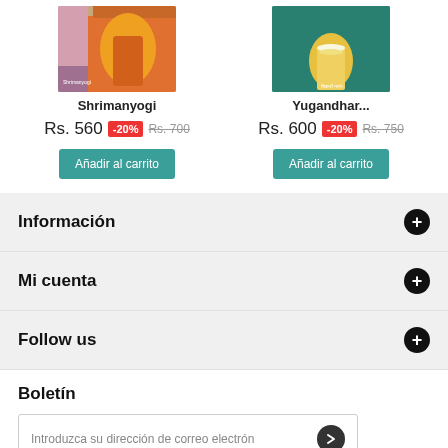[Figure (other): Book cover image for Shrimanyogi showing a classical Indian dancer/warrior figure in orange and yellow clothing]
Shrimanyogi
Rs. 560 -20% Rs. 700
Añadir al carrito
[Figure (other): Book cover image for Yugandhar showing a figure in traditional Indian attire with garland, on a teal/green background]
Yugandhar...
Rs. 600 -20% Rs. 750
Añadir al carrito
Información
Mi cuenta
Follow us
Boletín
Introduzca su dirección de correo electrón